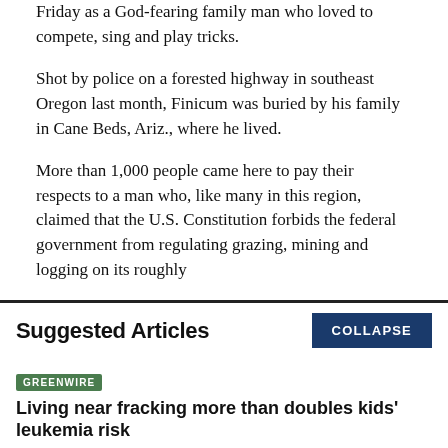Friday as a God-fearing family man who loved to compete, sing and play tricks.
Shot by police on a forested highway in southeast Oregon last month, Finicum was buried by his family in Cane Beds, Ariz., where he lived.
More than 1,000 people came here to pay their respects to a man who, like many in this region, claimed that the U.S. Constitution forbids the federal government from regulating grazing, mining and logging on its roughly
Suggested Articles
GREENWIRE
Living near fracking more than doubles kids' leukemia risk
BY Ariel Wittenberg | 08/18/2022 01:10 PM EDT
Read More >>
GREENWIRE
Mining companies strike gold with new climate law